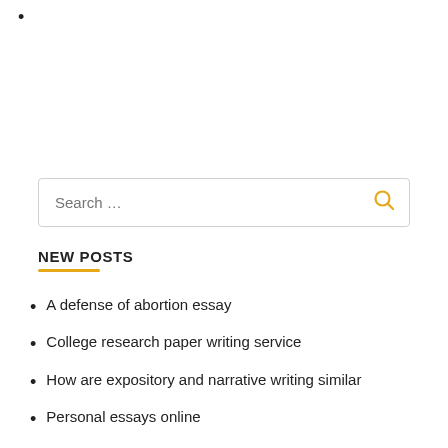•
[Figure (other): Search input box with magnifying glass icon and placeholder text 'Search ...']
NEW POSTS
A defense of abortion essay
College research paper writing service
How are expository and narrative writing similar
Personal essays online